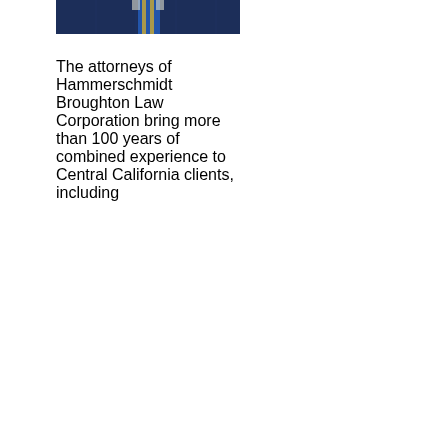[Figure (photo): Partial photograph of a man in a dark pinstripe suit with a blue and gold striped tie, cropped to show only the lower face/neck and upper torso.]
The attorneys of Hammerschmidt Broughton Law Corporation bring more than 100 years of combined experience to Central California clients, including